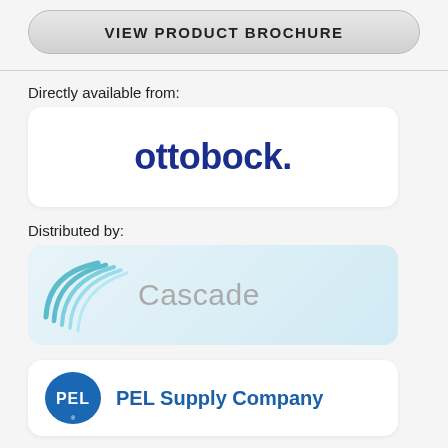VIEW PRODUCT BROCHURE
Directly available from:
[Figure (logo): Ottobock logo: bold dark blue lowercase text 'ottobock.' in a white rounded rectangle card]
Distributed by:
[Figure (logo): Cascade logo: teal swoosh lines on left with grey wordmark 'Cascade' on a light blue rounded rectangle card]
[Figure (logo): PEL Supply Company logo: blue oval with white 'PEL' text in bold, next to blue 'PEL Supply Company' wordmark, in a white rounded rectangle card]